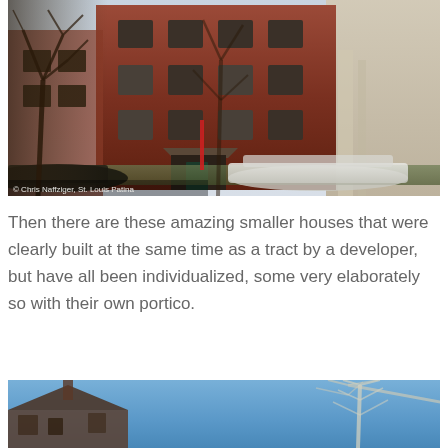[Figure (photo): Photograph of a red brick multi-story apartment building with bare winter trees in foreground, a white car parked on the street, and a lighter stone building visible on the right. Photo credit: Chris Naffziger, St. Louis Patina.]
Then there are these amazing smaller houses that were clearly built at the same time as a tract by a developer, but have all been individualized, some very elaborately so with their own portico.
[Figure (photo): Partial photograph showing a blue sky with bare white tree branches and the top portion of houses below, cropped at the bottom of the page.]